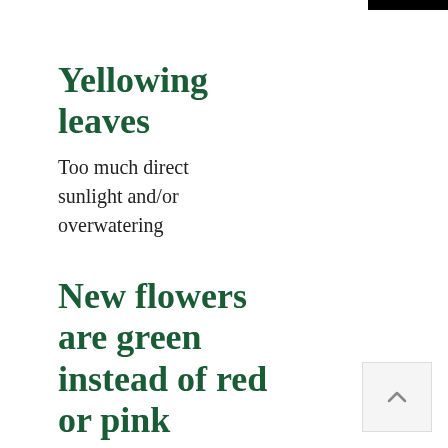Yellowing leaves
Too much direct sunlight and/or overwatering
New flowers are green instead of red or pink
Too much sunlight
Flowers are